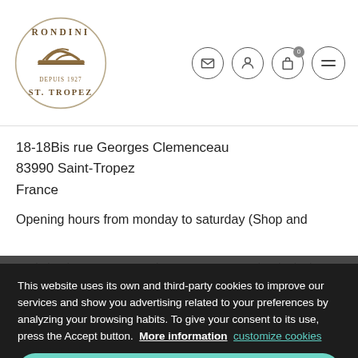Rondini St. Tropez – header with logo and navigation icons
18-18Bis rue Georges Clemenceau
83990 Saint-Tropez
France
Opening hours from monday to saturday (Shop and workshop): 9:30-13:00 and 14:00-19:30. Sunday (only the shop): 10:30-13:00 and 15:00-19:30.
This website uses its own and third-party cookies to improve our services and show you advertising related to your preferences by analyzing your browsing habits. To give your consent to its use, press the Accept button.  More information   customize cookies
I ACCEPT